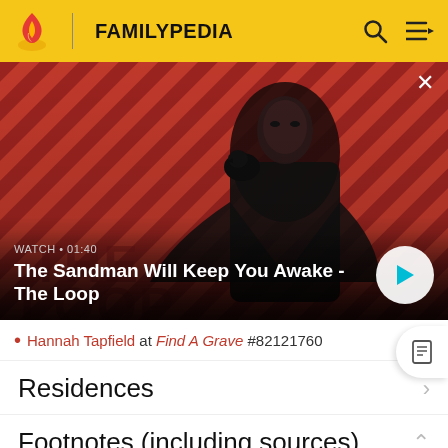FAMILYPEDIA
[Figure (screenshot): Video thumbnail showing a dark-clothed figure with a raven on their shoulder against a red and black striped background. Overlay text reads 'WATCH • 01:40' and 'The Sandman Will Keep You Awake - The Loop' with a play button.]
Hannah Tapfield at Find A Grave #82121760
Residences
Footnotes (including sources)